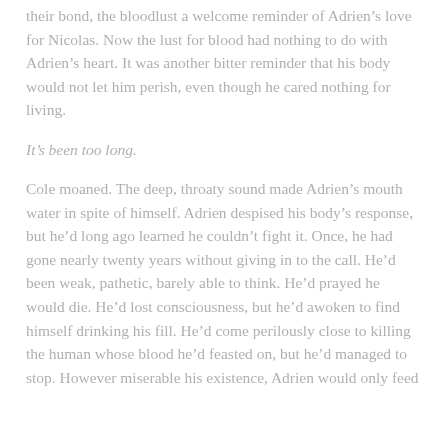their bond, the bloodlust a welcome reminder of Adrien's love for Nicolas. Now the lust for blood had nothing to do with Adrien's heart. It was another bitter reminder that his body would not let him perish, even though he cared nothing for living.
It's been too long.
Cole moaned. The deep, throaty sound made Adrien's mouth water in spite of himself. Adrien despised his body's response, but he'd long ago learned he couldn't fight it. Once, he had gone nearly twenty years without giving in to the call. He'd been weak, pathetic, barely able to think. He'd prayed he would die. He'd lost consciousness, but he'd awoken to find himself drinking his fill. He'd come perilously close to killing the human whose blood he'd feasted on, but he'd managed to stop. However miserable his existence, Adrien would only feed